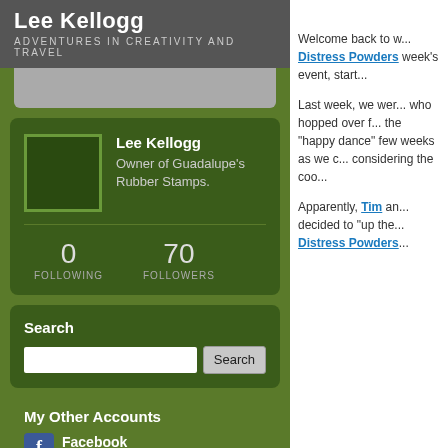Lee Kellogg
ADVENTURES IN CREATIVITY AND TRAVEL
[Figure (other): Gray bar placeholder below header]
[Figure (photo): Avatar placeholder box, dark green with green border]
Lee Kellogg
Owner of Guadalupe's Rubber Stamps.
0
FOLLOWING
70
FOLLOWERS
Search
My Other Accounts
Facebook | 100000429105105
Welcome back to w... Distress Powders week's event, start...
Last week, we wer... who hopped over f... the "happy dance" few weeks as we c... considering the coo...
Apparently, Tim an... decided to "up the... Distress Powders...